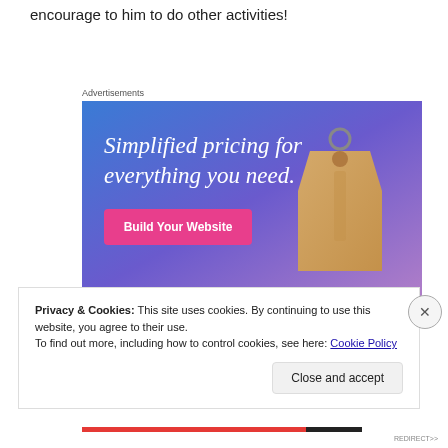encourage to him to do other activities!
Advertisements
[Figure (illustration): Advertisement banner with gradient blue-to-purple background. Text reads 'Simplified pricing for everything you need.' with a pink 'Build Your Website' button and a 3D price tag image on the right.]
Privacy & Cookies: This site uses cookies. By continuing to use this website, you agree to their use.
To find out more, including how to control cookies, see here: Cookie Policy
Close and accept